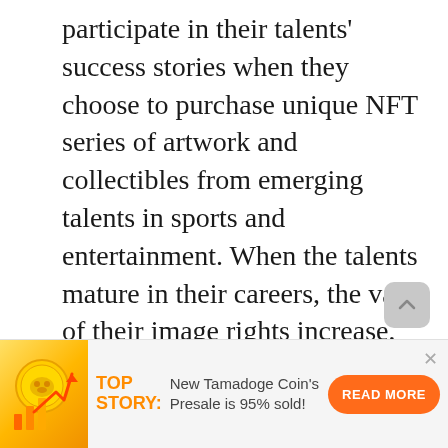participate in their talents' success stories when they choose to purchase unique NFT series of artwork and collectibles from emerging talents in sports and entertainment. When the talents mature in their careers, the value of their image rights increase, translating into rewards for the fans holding the NFTs.

To date, Jetcoin has sponsored English Football League Derby County FC, Wigan Athletic F.C., English Premier
[Figure (infographic): Advertisement banner with Tamadoge coin logo (golden coin with dog face and bar chart arrow), TOP STORY label in orange, text about New Tamadoge Coin Presale being 95% sold, and an orange READ MORE button. A close X button and scroll-up arrow button are also visible.]